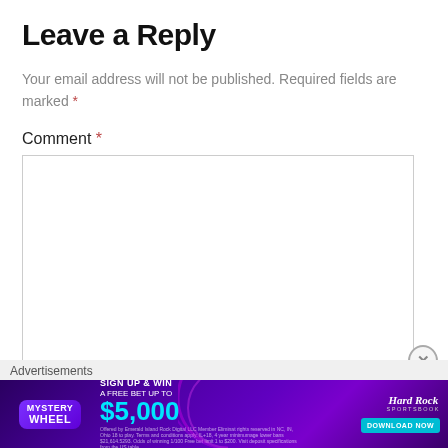Leave a Reply
Your email address will not be published. Required fields are marked *
Comment *
[Figure (screenshot): Empty comment textarea input box with light gray border]
[Figure (infographic): Hard Rock Sportsbook advertisement banner: Mystery Wheel - Sign Up & Win a Free Bet Up to $5,000 - Download Now]
Advertisements